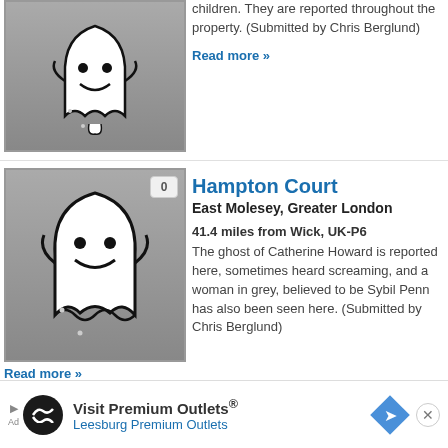children. They are reported throughout the property. (Submitted by Chris Berglund)
Read more »
[Figure (illustration): Ghost illustration on grey background with count badge showing 0]
Hampton Court
East Molesey, Greater London
41.4 miles from Wick, UK-P6
The ghost of Catherine Howard is reported here, sometimes heard screaming, and a woman in grey, believed to be Sybil Penn has also been seen here. (Submitted by Chris Berglund)
Read more »
[Figure (illustration): Ghost illustration on grey background with count badge showing 0]
Three Legged Cross
Warfield, England
43.7 miles from Wick, UK-P6
have co fell ill and
Visit Premium Outlets® Leesburg Premium Outlets